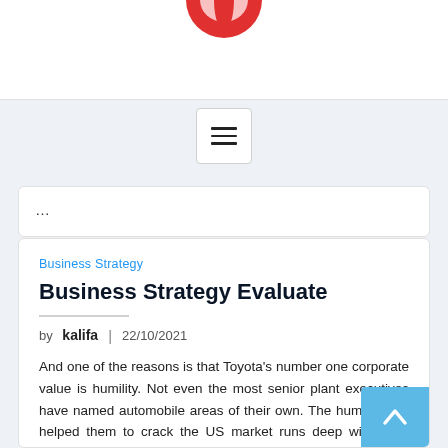[Figure (logo): Partial red circular logo visible at top of page]
[Figure (other): Hamburger menu button with three horizontal lines inside a rounded rectangle border]
...
Business Strategy
Business Strategy Evaluate
by kalifa | 22/10/2021
And one of the reasons is that Toyota's number one corporate value is humility. Not even the most senior plant executives have named automobile areas of their own. The humility that helped them to crack the US market runs deep within the group, from the executives to the meeting staff. In the year